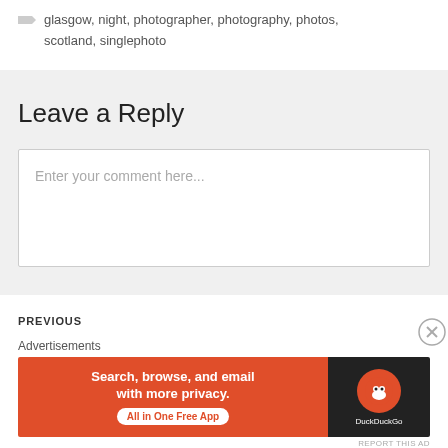glasgow, night, photographer, photography, photos, scotland, singlephoto
Leave a Reply
Enter your comment here...
PREVIOUS
Advertisements
[Figure (screenshot): DuckDuckGo advertisement banner: orange left panel with text 'Search, browse, and email with more privacy. All in One Free App' and a white pill button, dark right panel with DuckDuckGo duck logo and text 'DuckDuckGo']